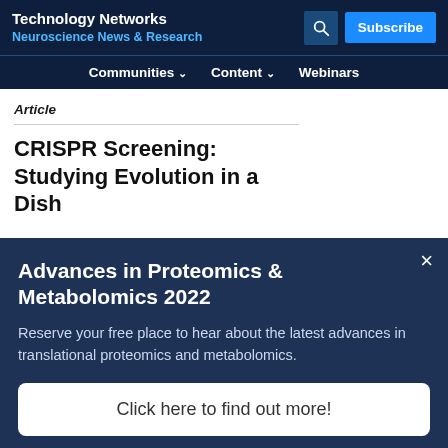Technology Networks
Neuroscience News & Research
Communities ∨   Content ∨   Webinars
Article
CRISPR Screening: Studying Evolution in a Dish
Advances in Proteomics & Metabolomics 2022
Reserve your free place to hear about the latest advances in translational proteomics and metabolomics.
Click here to find out more!